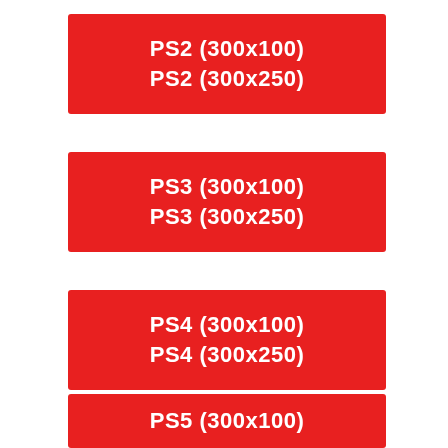[Figure (infographic): Red banner box with white bold text: PS2 (300x100) and PS2 (300x250)]
[Figure (infographic): Red banner box with white bold text: PS3 (300x100) and PS3 (300x250)]
[Figure (infographic): Red banner box with white bold text: PS4 (300x100) and PS4 (300x250)]
[Figure (infographic): Red banner box with white bold text: PS5 (300x100)]